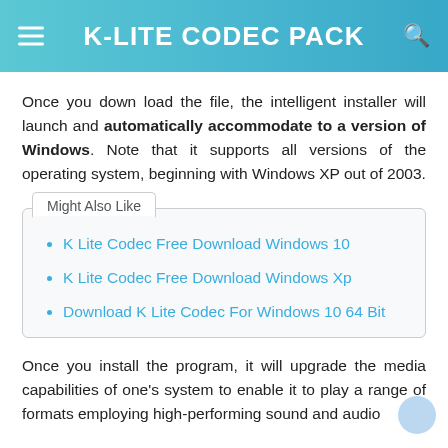K-LITE CODEC PACK
Once you down load the file, the intelligent installer will launch and automatically accommodate to a version of Windows. Note that it supports all versions of the operating system, beginning with Windows XP out of 2003.
Might Also Like
K Lite Codec Free Download Windows 10
K Lite Codec Free Download Windows Xp
Download K Lite Codec For Windows 10 64 Bit
Once you install the program, it will upgrade the media capabilities of one's system to enable it to play a range of formats employing high-performing sound and audio